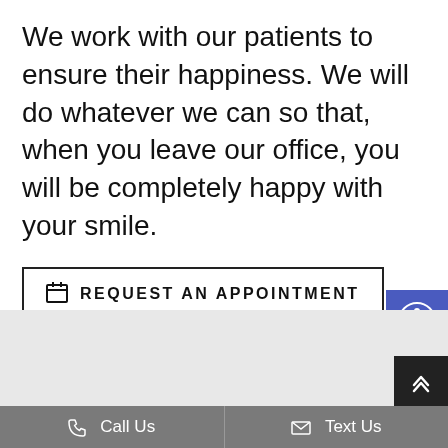We work with our patients to ensure their happiness. We will do whatever we can so that, when you leave our office, you will be completely happy with your smile.
REQUEST AN APPOINTMENT
[Figure (other): Blue accessibility widget button with person-in-circle icon]
[Figure (other): Gray map/content area placeholder]
[Figure (other): Dark scroll-to-top button with double chevron up arrow]
Call Us   Text Us